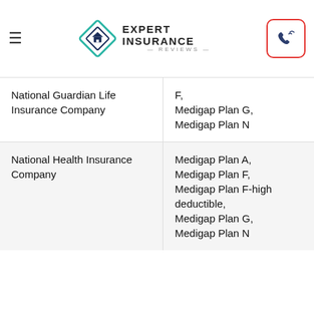Expert Insurance Reviews
| Company | Plans |
| --- | --- |
| National Guardian Life Insurance Company | F, Medigap Plan G, Medigap Plan N |
| National Health Insurance Company | Medigap Plan A, Medigap Plan F, Medigap Plan F-high deductible, Medigap Plan G, Medigap Plan N |